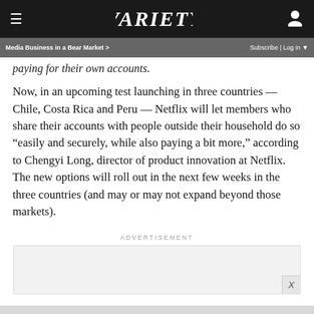VARIETY
Media Business in a Bear Market > | Subscribe | Log in
paying for their own accounts.
Now, in an upcoming test launching in three countries — Chile, Costa Rica and Peru — Netflix will let members who share their accounts with people outside their household do so “easily and securely, while also paying a bit more,” according to Chengyi Long, director of product innovation at Netflix. The new options will roll out in the next few weeks in the three countries (and may or may not expand beyond those markets).
ADVERTISEMENT